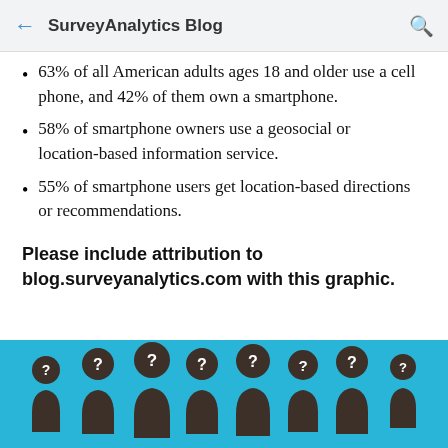SurveyAnalytics Blog
63% of all American adults ages 18 and older use a cell phone, and 42% of them own a smartphone.
58% of smartphone owners use a geosocial or location-based information service.
55% of smartphone users get location-based directions or recommendations.
Please include attribution to blog.surveyanalytics.com with this graphic.
[Figure (illustration): Row of dark silhouetted human figures with question marks on their bodies, on a cyan/teal background. Figures of varying sizes representing unknown/anonymous people.]